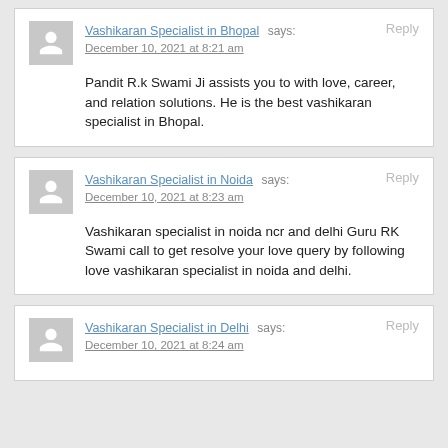Vashikaran Specialist in Bhopal says:
December 10, 2021 at 8:21 am
Pandit R.k Swami Ji assists you to with love, career, and relation solutions. He is the best vashikaran specialist in Bhopal.
Vashikaran Specialist in Noida says:
December 10, 2021 at 8:23 am
Vashikaran specialist in noida ncr and delhi Guru RK Swami call to get resolve your love query by following love vashikaran specialist in noida and delhi.
Vashikaran Specialist in Delhi says:
December 10, 2021 at 8:24 am